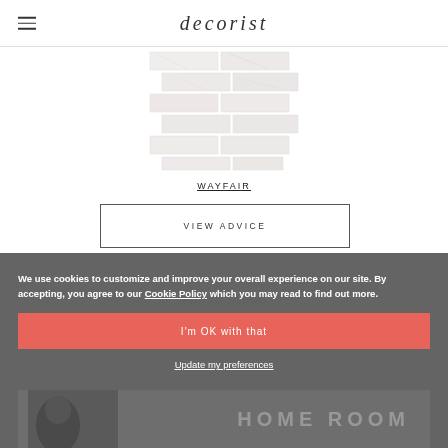decorist
[Figure (photo): Marble subway tile mosaic image arranged in a brick pattern, light gray and white tones]
WAYFAIR
VIEW ADVICE
We use cookies to customize and improve your overall experience on our site. By accepting, you agree to our Cookie Policy which you may read to find out more.
I'm OK with that
Update my preferences
[Figure (screenshot): HOME ROOM text overlay on dark background with person silhouette]